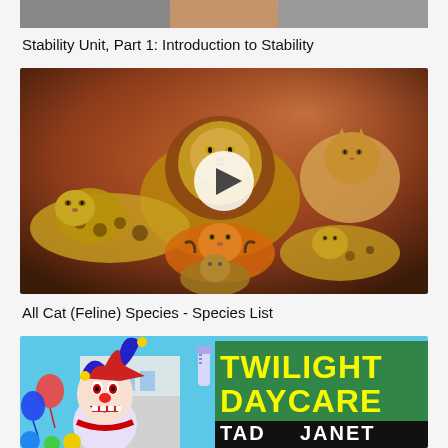[Figure (screenshot): Top portion of a video thumbnail (partially cropped) showing a person or animal, grey/neutral tones]
Stability Unit, Part 1: Introduction to Stability
[Figure (photo): Video thumbnail showing multiple wild big cats (lion, leopard, tiger, bobcat, etc.) gathered together in a dramatic orange/brown artistic background, with a white circular play button overlay in the center]
All Cat (Feline) Species - Species List
[Figure (screenshot): Partially visible video thumbnail showing a colorful cartoon scene with a clown character and the text 'TWILIGHT DAYCARE' in large yellow letters, with 'JANET' partially visible at the bottom right]